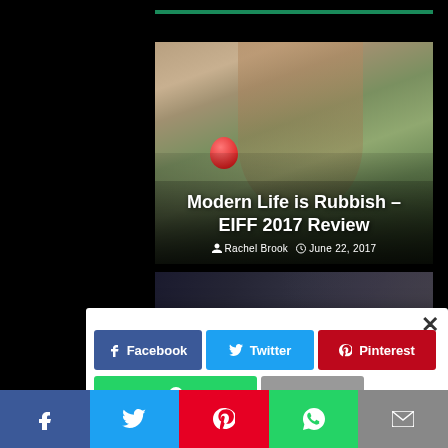[Figure (screenshot): Green horizontal divider bar at top of content area]
[Figure (photo): Article card showing a woman with red hair wearing headphones outdoors with autumn foliage background, holding a red balloon. Title overlaid: 'Modern Life is Rubbish – EIFF 2017 Review' by Rachel Brook, June 22, 2017]
Modern Life is Rubbish – EIFF 2017 Review
Rachel Brook   June 22, 2017
[Figure (photo): Partial view of a second article card with dark/moody background showing a person]
[Figure (screenshot): Social share popup overlay with close button (×) and share buttons: Facebook, Twitter, Pinterest, WhatsApp, and More]
[Figure (screenshot): Bottom sticky share bar with Facebook (blue), Twitter (light blue), Pinterest (red), WhatsApp (green), and Email (grey) buttons]